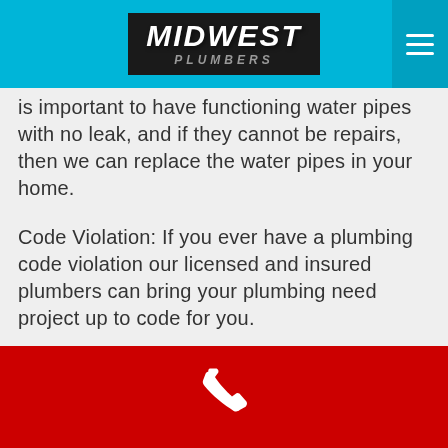MIDWEST
is important to have functioning water pipes with no leak, and if they cannot be repairs, then we can replace the water pipes in your home.
Code Violation: If you ever have a plumbing code violation our licensed and insured plumbers can bring your plumbing need project up to code for you.
Sump Pumps – Sump Pumps help can keep water out of your home, and when they fail, it could cause major damage especially in the basement. It is important to make sure that your sump pump is working properly especially before a wet spring.
Water Treatment & Water Softeners – Water
[Figure (other): Red phone call button bar at the bottom with a white phone icon]